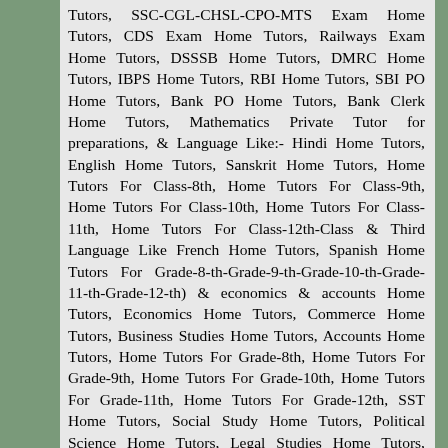Tutors, SSC-CGL-CHSL-CPO-MTS Exam Home Tutors, CDS Exam Home Tutors, Railways Exam Home Tutors, DSSSB Home Tutors, DMRC Home Tutors, IBPS Home Tutors, RBI Home Tutors, SBI PO Home Tutors, Bank PO Home Tutors, Bank Clerk Home Tutors, Mathematics Private Tutor for preparations, & Language Like:- Hindi Home Tutors, English Home Tutors, Sanskrit Home Tutors, Home Tutors For Class-8th, Home Tutors For Class-9th, Home Tutors For Class-10th, Home Tutors For Class-11th, Home Tutors For Class-12th-Class & Third Language Like French Home Tutors, Spanish Home Tutors For Grade-8-th-Grade-9-th-Grade-10-th-Grade-11-th-Grade-12-th) & economics & accounts Home Tutors, Economics Home Tutors, Commerce Home Tutors, Business Studies Home Tutors, Accounts Home Tutors, Home Tutors For Grade-8th, Home Tutors For Grade-9th, Home Tutors For Grade-10th, Home Tutors For Grade-11th, Home Tutors For Grade-12th, SST Home Tutors, Social Study Home Tutors, Political Science Home Tutors, Legal Studies Home Tutors, Business Law Home Tutors, Business Maths Home Tutors, Sociology Home Tutors, Statistics Home Tutors, Biology Home Tutors, Business Law Home Tutors, Company Law Home Tutors, Corporate Accouts Home Tutors, Management Accounts Home Tutors, Psychology Home Tutors, Operations